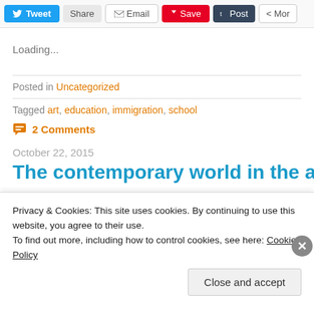[Figure (screenshot): Social sharing toolbar with Tweet, Share, Email, Save, Post, and More buttons]
Loading...
Posted in Uncategorized
Tagged art, education, immigration, school
2 Comments
October 22, 2015
The contemporary world in the art le
Privacy & Cookies: This site uses cookies. By continuing to use this website, you agree to their use.
To find out more, including how to control cookies, see here: Cookie Policy
Close and accept